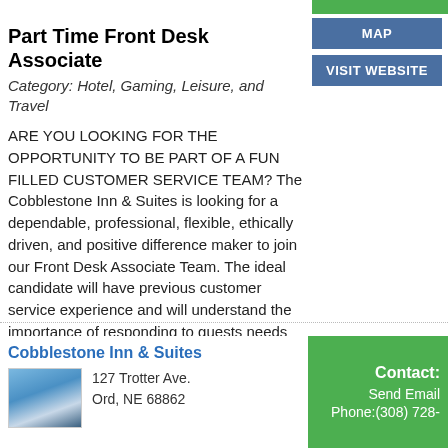Part Time Front Desk Associate
Category: Hotel, Gaming, Leisure, and Travel
ARE YOU LOOKING FOR THE OPPORTUNITY TO BE PART OF A FUN FILLED CUSTOMER SERVICE TEAM? The Cobblestone Inn & Suites is looking for a dependable, professional, flexible, ethically driven, and positive difference maker to join our Front Desk Associate Team. The ideal candidate will have previous customer service experience and will understand the importance of responding to guests needs while managing multiple tasks at once. You'll be corresponding to guests through email, over the phone, and in person. If ...read more →
Cobblestone Inn & Suites
127 Trotter Ave.
Ord, NE 68862
Contact: Send Email Phone:(308) 728-